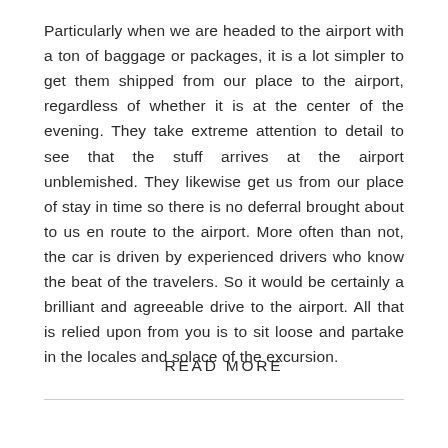Particularly when we are headed to the airport with a ton of baggage or packages, it is a lot simpler to get them shipped from our place to the airport, regardless of whether it is at the center of the evening. They take extreme attention to detail to see that the stuff arrives at the airport unblemished. They likewise get us from our place of stay in time so there is no deferral brought about to us en route to the airport. More often than not, the car is driven by experienced drivers who know the beat of the travelers. So it would be certainly a brilliant and agreeable drive to the airport. All that is relied upon from you is to sit loose and partake in the locales and solace of the excursion.
READ MORE